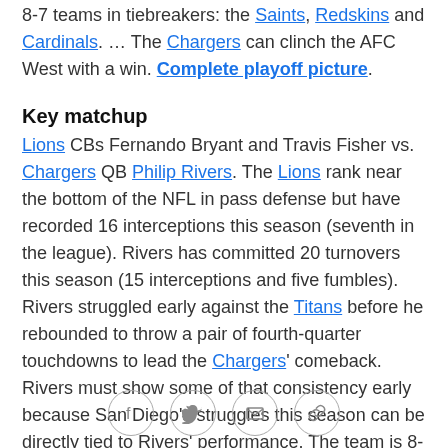8-7 teams in tiebreakers: the Saints, Redskins and Cardinals. … The Chargers can clinch the AFC West with a win. Complete playoff picture.
Key matchup
Lions CBs Fernando Bryant and Travis Fisher vs. Chargers QB Philip Rivers. The Lions rank near the bottom of the NFL in pass defense but have recorded 16 interceptions this season (seventh in the league). Rivers has committed 20 turnovers this season (15 interceptions and five fumbles). Rivers struggled early against the Titans before he rebounded to throw a pair of fourth-quarter touchdowns to lead the Chargers' comeback. Rivers must show some of that consistency early because San Diego's struggles this season can be directly tied to Rivers' performance. The team is 8-1
Social share icons: Facebook, Twitter, Email, Link